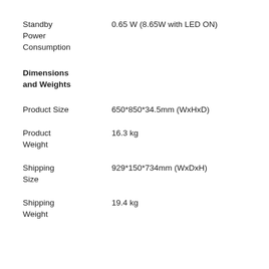| Attribute | Value |
| --- | --- |
| Standby Power Consumption | 0.65 W (8.65W with LED ON) |
| Dimensions and Weights |  |
| Product Size | 650*850*34.5mm (WxHxD) |
| Product Weight | 16.3 kg |
| Shipping Size | 929*150*734mm (WxDxH) |
| Shipping Weight | 19.4 kg |